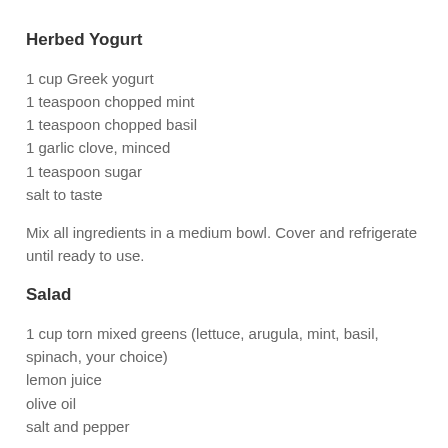Herbed Yogurt
1 cup Greek yogurt
1 teaspoon chopped mint
1 teaspoon chopped basil
1 garlic clove, minced
1 teaspoon sugar
salt to taste
Mix all ingredients in a medium bowl. Cover and refrigerate until ready to use.
Salad
1 cup torn mixed greens (lettuce, arugula, mint, basil, spinach, your choice)
lemon juice
olive oil
salt and pepper
Toss greens with a squeeze of lemon and a light drizzle of